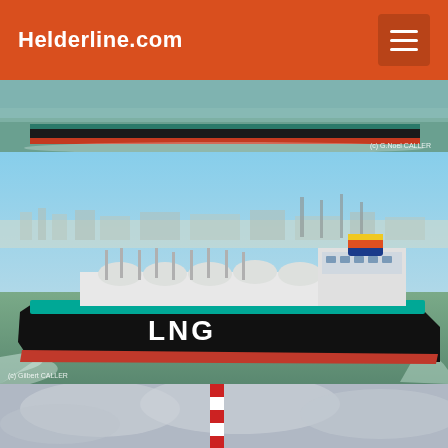Helderline.com
[Figure (photo): Partial view of a ship on green water, top strip, with watermark '(c) G.Noel CALLER']
[Figure (photo): Aerial photo of a large LNG tanker ship with black hull, teal/cyan stripe, white superstructure, and colorful funnel, sailing on green-brown water with a port city visible in the background. Watermark '(c) Gilbert CALLER' in bottom left.]
[Figure (photo): Partial view of a red and white striped chimney/stack against a cloudy grey sky, bottom strip.]